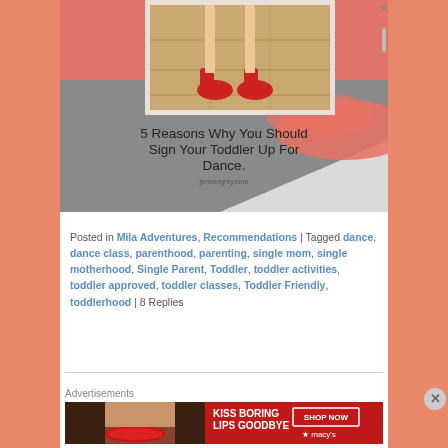[Figure (illustration): Blog post card image for '5 Reasons Why You Should Sign Your Toddler Up For Dance.' showing red shoes on a wood floor, with coral/gray decorative background, text overlay, and jenserigrey.com attribution.]
Posted in Mila Adventures, Recommendations | Tagged dance, dance class, parenthood, parenting, single mom, single motherhood, Single Parent, Toddler, toddler activities, toddler approved, toddler classes, Toddler Friendly, toddlerhood | 8 Replies
Advertisements
[Figure (illustration): Macy's advertisement banner: 'KISS BORING LIPS GOODBYE' with SHOP NOW button and Macy's logo on red background with model's face.]